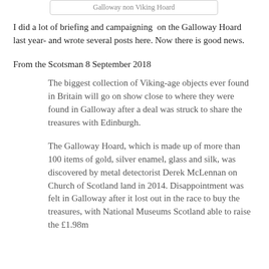Galloway non Viking Hoard
I did a lot of briefing and campaigning  on the Galloway Hoard  last year- and wrote several posts here. Now there is good news.
From the Scotsman 8 September 2018
The biggest collection of Viking-age objects ever found in Britain will go on show close to where they were found in Galloway after a deal was struck to share the treasures with Edinburgh.
The Galloway Hoard, which is made up of more than 100 items of gold, silver enamel, glass and silk, was discovered by metal detectorist Derek McLennan on Church of Scotland land in 2014. Disappointment was felt in Galloway after it lost out in the race to buy the treasures, with National Museums Scotland able to raise the £1.98m needed to secure the collection.